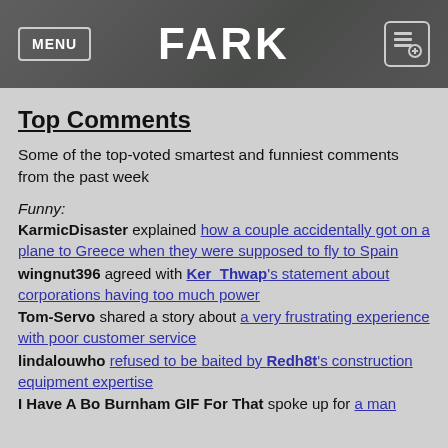MENU | FARK | [icon]
Top Comments
Some of the top-voted smartest and funniest comments from the past week
Funny:
KarmicDisaster explained how a couple accidentally got on a plane to Greece when they were supposed to fly to Spain
wingnut396 agreed with Ker_Thwap's statement about corporations having too much power
Tom-Servo shared a story about a very frustrating experience with poor customer service
lindalouwho refused to be baited by Redh8t's construction equipment expertise
I Have A Bo Burnham GIF For That spoke up for a man